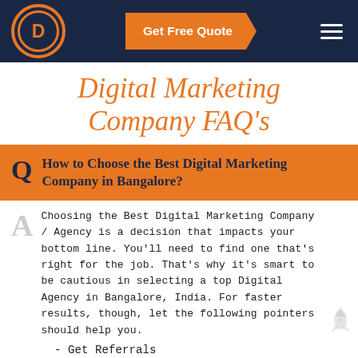Get Free Quote
Digital Marketing Company FAQ's
Q How to Choose the Best Digital Marketing Company in Bangalore?
Choosing the Best Digital Marketing Company / Agency is a decision that impacts your bottom line. You'll need to find one that's right for the job. That's why it's smart to be cautious in selecting a top Digital Agency in Bangalore, India. For faster results, though, let the following pointers should help you.
- Get Referrals